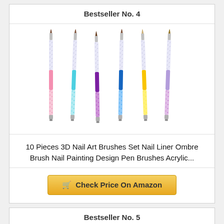Bestseller No. 4
[Figure (photo): Seven nail art brushes with crystal-studded handles in pink, teal, purple, blue, yellow, and lavender colors arranged in a fan-like display]
10 Pieces 3D Nail Art Brushes Set Nail Liner Ombre Brush Nail Painting Design Pen Brushes Acrylic...
Check Price On Amazon
Bestseller No. 5